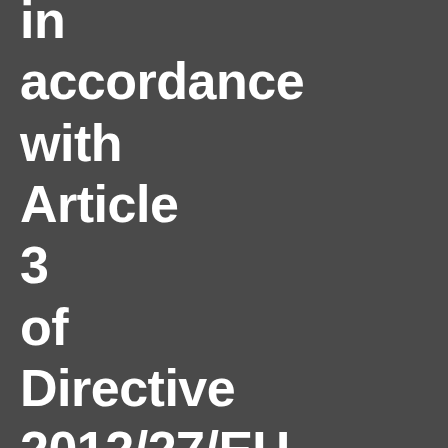in accordance with Article 3 of Directive 2012/27/EU on energy efficiency (EED).